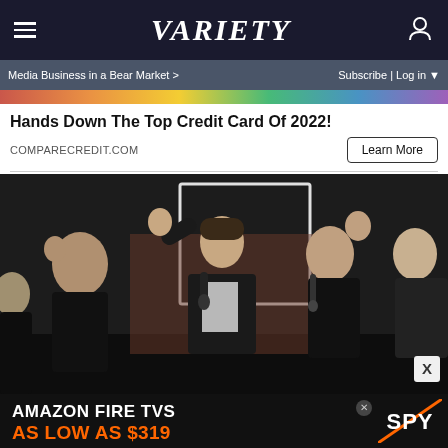VARIETY
Media Business in a Bear Market >
Subscribe | Log in
Hands Down The Top Credit Card Of 2022!
COMPARECREDIT.COM
Learn More
[Figure (photo): K-pop or boy band performers on stage dressed in black suits, raising fists and singing into microphones during a performance]
X
AMAZON FIRE TVS AS LOW AS $319
SPY